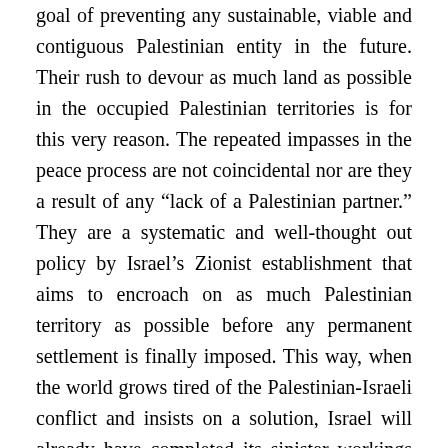goal of preventing any sustainable, viable and contiguous Palestinian entity in the future. Their rush to devour as much land as possible in the occupied Palestinian territories is for this very reason. The repeated impasses in the peace process are not coincidental nor are they a result of any “lack of a Palestinian partner.” They are a systematic and well-thought out policy by Israel’s Zionist establishment that aims to encroach on as much Palestinian territory as possible before any permanent settlement is finally imposed. This way, when the world grows tired of the Palestinian-Israeli conflict and insists on a solution, Israel will already have completed its sinister workings and there will hardly be anything remaining over which to settle. One only has to look at the situation today vis-à-vis Palestinian land, to see how this policy has become fact. One only has to travel to Bilin and Niln each